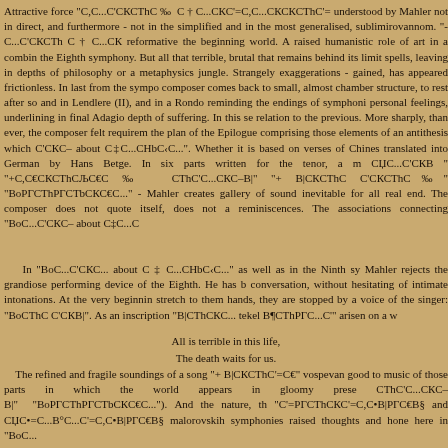Attractive force "С,С...С'СКСТhС ‰  С † С...СКС'=С,С...СКСКСТhС'= understood by Mahler not in direct, and furthermore - not in the simplified and in the most generalised, sublimirovannom. "-С...С'СКСТh С † С...СК reformative the beginning world. A raised humanistic role of art in a combin the Eighth symphony. But all that terrible, brutal that remains behind its limit spells, leaving in depths of philosophy or a metaphysics jungle. Strangely exaggerations - gained, has appeared frictionless. In last from the sympo composer comes back to small, almost chamber structure, to rest after so and in Lendlere (II), and in a Rondo reminding the endings of symphoni personal feelings, underlining in final Adagio depth of suffering. In this se relation to the previous. More sharply, than ever, the composer felt requirem the plan of the Epilogue comprising those elements of an antithesis which С'СКС– about С‡С...СНbС‹С...". Whether it is based on verses of Chines translated into German by Hans Betge. In six parts written for the tenor, a m СЏС...С'СКВ " "+С,С€СКСТhСЉС€С ‰  СТhС'С...СКС–В|" "+ В|СКСТhС С'СКСТhС‰" "ВоРГСТhРГСТbСКС€С..." - Mahler creates gallery of sound inevitable for all real end. The composer does not quote itself, does not a reminiscences. The associations connecting "ВоС...С'СКС– about С‡С...С
In "ВоС...С'СКС... about С ‡ С...СНbС‹С..." as well as in the Ninth sy Mahler rejects the grandiose performing device of the Eighth. He has b conversation, without hesitating of intimate intonations. At the very beginnin stretch to them hands, they are stopped by a voice of the singer: "ВоСТhС С'СКВ|". As an inscription "В|СТhСКС... tekel В¶СТhРГС...С'" arisen on a w
All is terrible in this life,
The death waits for us.
The refined and fragile soundings of a song "+ В|СКСТhС'=С€" vospevan good to music of those parts in which the world appears in gloomy prese СТhС'С...СКС–В|"  "ВоРГСТhРГСТbСКС€С..."). And the nature, th "С'=РГСТhСКС'=С,С•В|РГС€В§ and СЏС•=С...В°С...С'=С,С•В|РГС€В§ malorovskih symphonies raised thoughts and hone here in "ВоС...